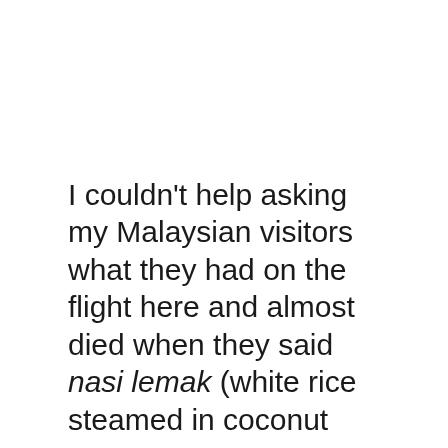I couldn't help asking my Malaysian visitors what they had on the flight here and almost died when they said nasi lemak (white rice steamed in coconut